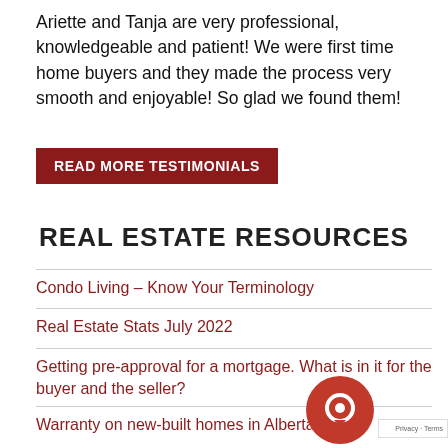Ariette and Tanja are very professional, knowledgeable and patient! We were first time home buyers and they made the process very smooth and enjoyable! So glad we found them!
READ MORE TESTIMONIALS
REAL ESTATE RESOURCES
Condo Living – Know Your Terminology
Real Estate Stats July 2022
Getting pre-approval for a mortgage. What is in it for the buyer and the seller?
Warranty on new-built homes in Alberta